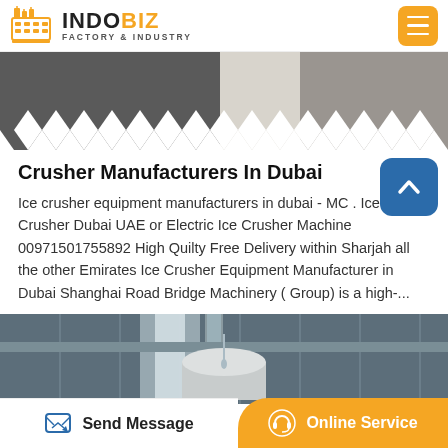INDOBIZ FACTORY & INDUSTRY
[Figure (photo): Zigzag/chevron patterned metal or fabric material in dark gray and white tones]
Crusher Manufacturers In Dubai
Ice crusher equipment manufacturers in dubai - MC . Ice Crusher Dubai UAE or Electric Ice Crusher Machine 00971501755892 High Quilty Free Delivery within Sharjah all the other Emirates Ice Crusher Equipment Manufacturer in Dubai Shanghai Road Bridge Machinery ( Group) is a high-...
[Figure (photo): Industrial ceiling interior with pipes and a metal cylindrical tank or drum, water dripping]
Send Message   Online Service